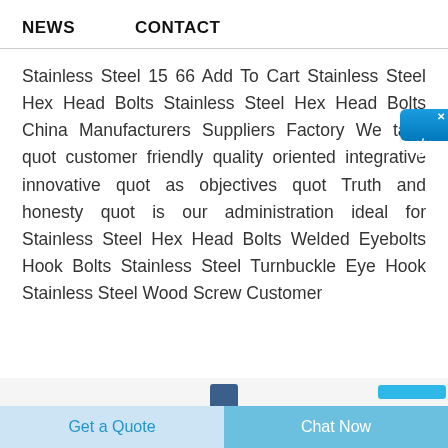NEWS    CONTACT
Stainless Steel 15 66 Add To Cart Stainless Steel Hex Head Bolts Stainless Steel Hex Head Bolts China Manufacturers Suppliers Factory We take quot customer friendly quality oriented integrative innovative quot as objectives quot Truth and honesty quot is our administration ideal for Stainless Steel Hex Head Bolts Welded Eyebolts Hook Bolts Stainless Steel Turnbuckle Eye Hook Stainless Steel Wood Screw Customer
[Figure (other): Bolt product thumbnail image at bottom of page, partially visible]
Get a Quote    Chat Now